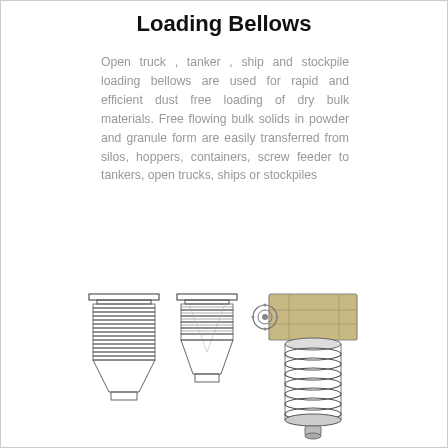Loading Bellows
Open truck , tanker , ship and stockpile loading bellows are used for rapid and efficient dust free loading of dry bulk materials. Free flowing bulk solids in powder and granule form are easily transferred from silos, hoppers, containers, screw feeder to tankers, open trucks, ships or stockpiles
[Figure (engineering-diagram): Technical engineering drawings of loading bellows showing two cross-sectional schematic views (front elevations with segmented bellow structure, top flanges, and conical lower sections) and one 3D isometric/perspective view of a loading bellow unit with a square housing and cylindrical bellow body with multiple convoluted rings.]